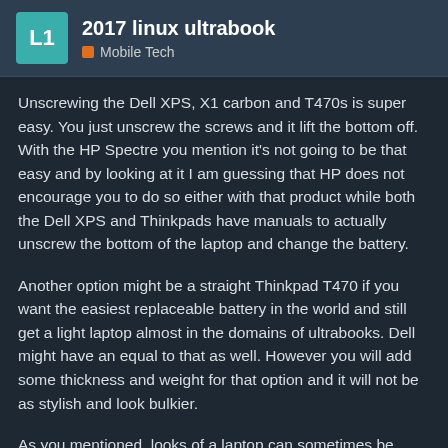2017 linux ultrabook | Mobile Tech
Unscrewing the Dell XPS, X1 carbon and T470s is super easy. You just unscrew the screws and it lift the bottom off. With the HP Spectre you mention it's not going to be that easy and by looking at it I am guessing that HP does not encourage you to do so either with that product while both the Dell XPS and Thinkpads have manuals to actually unscrew the bottom of the laptop and change the battery.
Another option might be a straight Thinkpad T470 if you want the easiest replaceable battery in the world and still get a light laptop almost in the domains of ultrabooks. Dell might have an equal to that as well. However you will add some thickness and weight for that option and it will not be as stylish and look bulkier.
As you mentioned, looks of a laptop can sometimes be disregarded by some people but it's not irrelevant. Thinkpads are business machines and I usually see t serious environments. They are not famo
28 / 31